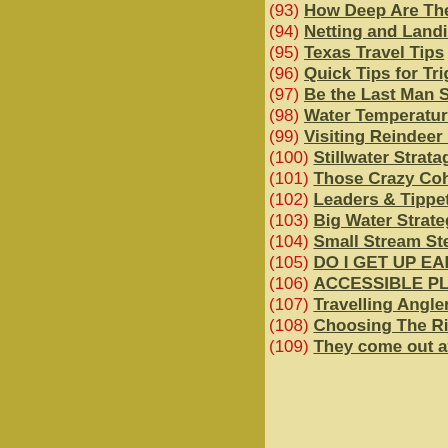(93) How Deep Are They Bit...
(94) Netting and Landing You...
(95) Texas Travel Tips
(96) Quick Tips for Triggering...
(97) Be the Last Man Standin...
(98) Water Temperature & Tr...
(99) Visiting Reindeer Lake
(100) Stillwater Stratagems
(101) Those Crazy Cohos!
(102) Leaders & Tippets
(103) Big Water Strategies
(104) Small Stream Stealth
(105) DO I GET UP EARLY?
(106) ACCESSIBLE PLACES...
(107) Travelling Angler Tips
(108) Choosing The Right Fl...
(109) They come out at Nigh...